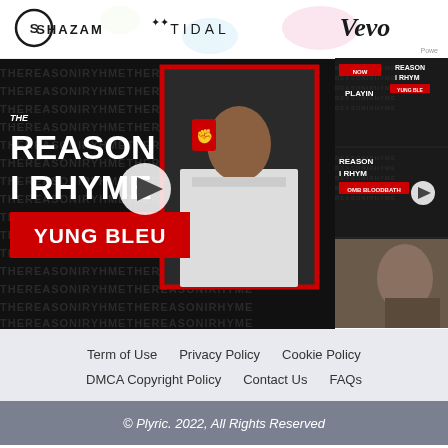[Figure (screenshot): Top navigation bar with Shazam, Tidal, and Vevo logos on white background with decorative circles]
[Figure (screenshot): Main video thumbnail: 'The Reason I Rhyme' show featuring Yung Bleu, with red/black design and artist photo]
[Figure (screenshot): Sidebar showing Now Playing panel and OMB Bloodbath episode thumbnail]
Term of Use
Privacy Policy
Cookie Policy
DMCA Copyright Policy
Contact Us
FAQs
© Plyric. 2022, All Rights Reserved